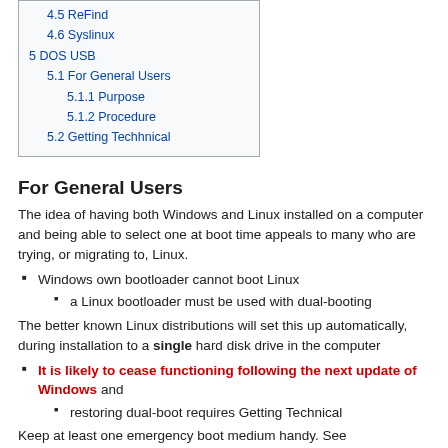4.5  ReFind
4.6  Syslinux
5  DOS USB
5.1  For General Users
5.1.1  Purpose
5.1.2  Procedure
5.2  Getting Techhnical
For General Users
The idea of having both Windows and Linux installed on a computer and being able to select one at boot time appeals to many who are trying, or migrating to, Linux.
Windows own bootloader cannot boot Linux
a Linux bootloader must be used with dual-booting
The better known Linux distributions will set this up automatically, during installation to a single hard disk drive in the computer
It is likely to cease functioning following the next update of Windows and
restoring dual-boot requires Getting Technical
Keep at least one emergency boot medium handy. See Emergency_Boot - Including for Dual-Boot
Getting Technical
The above problem can usually be obviated by having additional hard